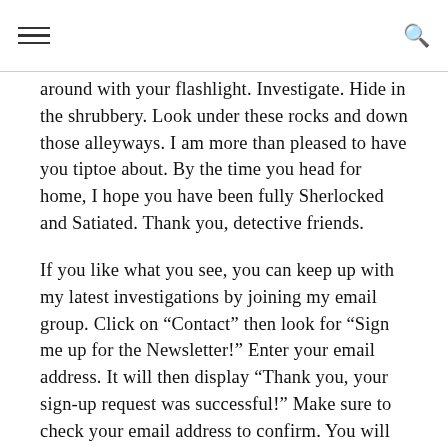[hamburger menu] [search icon]
around with your flashlight. Investigate. Hide in the shrubbery. Look under these rocks and down those alleyways. I am more than pleased to have you tiptoe about. By the time you head for home, I hope you have been fully Sherlocked and Satiated. Thank you, detective friends.
If you like what you see, you can keep up with my latest investigations by joining my email group. Click on “Contact” then look for “Sign me up for the Newsletter!” Enter your email address. It will then display “Thank you, your sign-up request was successful!” Make sure to check your email address to confirm. You will get sent email updates